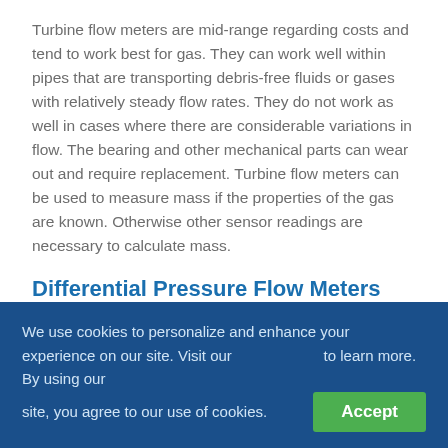Turbine flow meters are mid-range regarding costs and tend to work best for gas. They can work well within pipes that are transporting debris-free fluids or gases with relatively steady flow rates. They do not work as well in cases where there are considerable variations in flow. The bearing and other mechanical parts can wear out and require replacement. Turbine flow meters can be used to measure mass if the properties of the gas are known. Otherwise other sensor readings are necessary to calculate mass.
Differential Pressure Flow Meters
Like all non-influence types, differential pressure flow...
We use cookies to personalize and enhance your experience on our site. Visit our [privacy policy] to learn more. By using our site, you agree to our use of cookies.